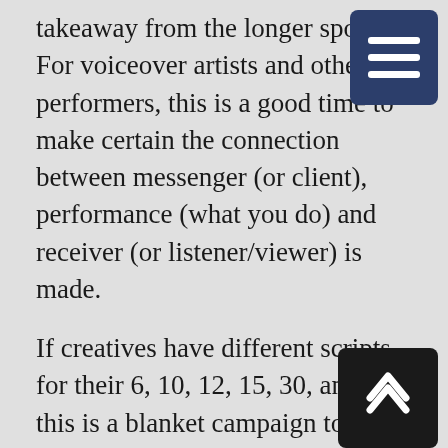takeaway from the longer spot. For voiceover artists and other performers, this is a good time to make certain the connection between messenger (or client), performance (what you do) and receiver (or listener/viewer) is made.
If creatives have different scripts for their 6, 10, 12, 15, 30, and 60, this is a blanket campaign to cover all online (and perhaps broadcast platforms) and the theme that runs throughout reveals what is most important for them. Instead of being limited by time, campaigns build on a central theme or storyline, piecing it together over a series of different ad lengths. Done well, audiences even look forward to each piece.